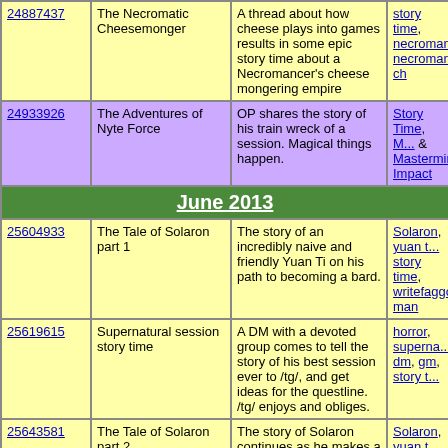| ID | Title | Description | Tags |
| --- | --- | --- | --- |
| 24887437 | The Necromatic Cheesemonger | A thread about how cheese plays into games results in some epic story time about a Necromancer's cheese mongering empire | story time, necromancer, necromancy, ch... |
| 24933926 | The Adventures of Nyte Force | OP shares the story of his train wreck of a session. Magical things happen. | Story Time, M... & Mastermind... Impact |
| June 2013 |  |  |  |
| 25604933 | The Tale of Solaron part 1 | The story of an incredibly naive and friendly Yuan Ti on his path to becoming a bard. | Solaron, yuan t... story time, writefaggotry, man |
| 25619615 | Supernatural session story time | A DM with a devoted group comes to tell the story of his best session ever to /tg/, and get ideas for the questline. /tg/ enjoys and obliges. | horror, superna... dm, gm, story t... |
| 25643581 | The Tale of Solaron part 2 | The story of Solaron continues as he makes a new friend and continues on his path to adventure. | Solaron, yuan t... story time, writefaggotry, man |
| 25661148 | The Tale of Solaron part 3 | Solaron's path to friendship and adventure continues. | Solaron, yuan t... story time, writefaggotry |